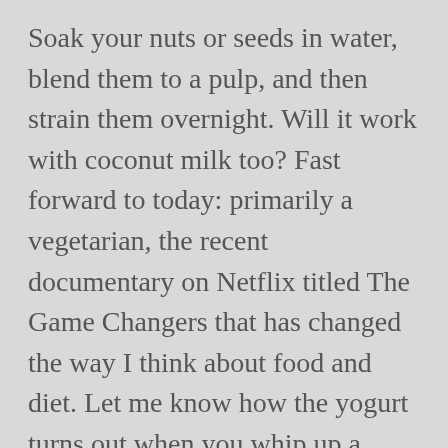Soak your nuts or seeds in water, blend them to a pulp, and then strain them overnight. Will it work with coconut milk too? Fast forward to today: primarily a vegetarian, the recent documentary on Netflix titled The Game Changers that has changed the way I think about food and diet. Let me know how the yogurt turns out when you whip up a batch!! I would assume that it would be in place of the capsule. The Cultures For Health Vegan Yogurt Starter is a top choice for health-conscious individuals or those following a vegan diet. I know – I was so excited it turned out as well I haven't found a storebought yogurt brand I like yet ). It's also commonly used to help firm up cheese or increase the